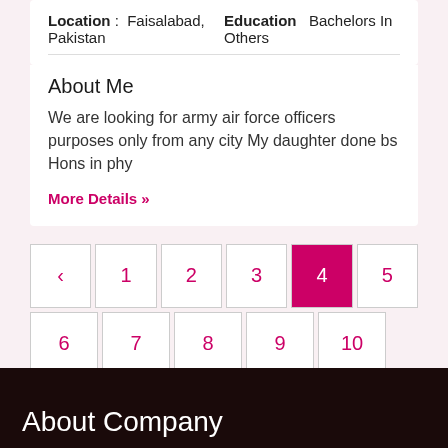Location : Faisalabad, Pakistan   Education   Bachelors In Others
About Me
We are looking for army air force officers purposes only from any city My daughter done bs Hons in phy
More Details »
‹ 1 2 3 4 5 6 7 8 9
10 11 ›
About Company